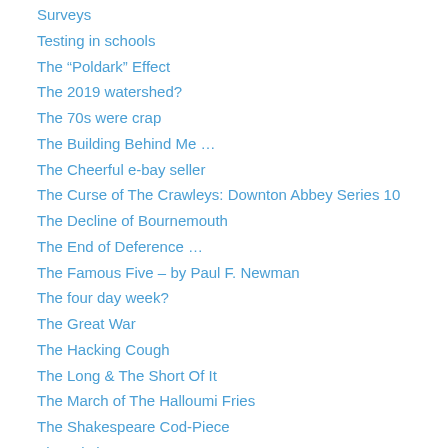Surveys
Testing in schools
The “Poldark” Effect
The 2019 watershed?
The 70s were crap
The Building Behind Me …
The Cheerful e-bay seller
The Curse of The Crawleys: Downton Abbey Series 10
The Decline of Bournemouth
The End of Deference …
The Famous Five – by Paul F. Newman
The four day week?
The Great War
The Hacking Cough
The Long & The Short Of It
The March of The Halloumi Fries
The Shakespeare Cod-Piece
The Stitch Up
View From The Queue
What happened to car CD players?